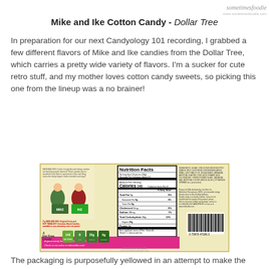sometimes foodie
www.sometimesfoodie.com
Mike and Ike Cotton Candy - Dollar Tree
In preparation for our next Candyology 101 recording, I grabbed a few different flavors of Mike and Ike candies from the Dollar Tree, which carries a pretty wide variety of flavors. I'm a sucker for cute retro stuff, and my mother loves cotton candy sweets, so picking this one from the lineup was a no brainer!
[Figure (photo): Back of Mike and Ike Cotton Candy box showing nutrition facts panel, ingredients, barcode, promotional text, and a pink banner at the bottom. Box has a yellowed/vintage appearance.]
The packaging is purposefully yellowed in an attempt to make the box look older and vintage-y,